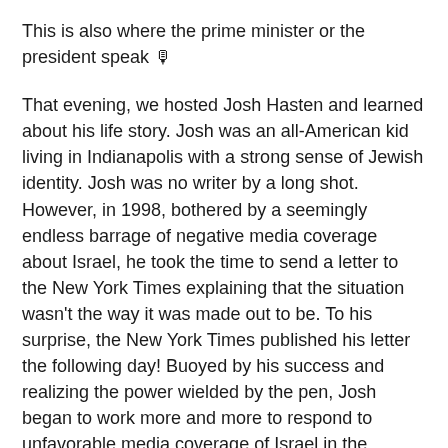This is also where the prime minister or the president speak 🎙
That evening, we hosted Josh Hasten and learned about his life story. Josh was an all-American kid living in Indianapolis with a strong sense of Jewish identity. Josh was no writer by a long shot. However, in 1998, bothered by a seemingly endless barrage of negative media coverage about Israel, he took the time to send a letter to the New York Times explaining that the situation wasn't the way it was made out to be. To his surprise, the New York Times published his letter the following day! Buoyed by his success and realizing the power wielded by the pen, Josh began to work more and more to respond to unfavorable media coverage of Israel in the media. Please click here to be inspired by one of his famous speeches. For the past five years, Josh has been active in media training, public relations, and speaking tours to inspire pro-Israel advocates around the world. He shared